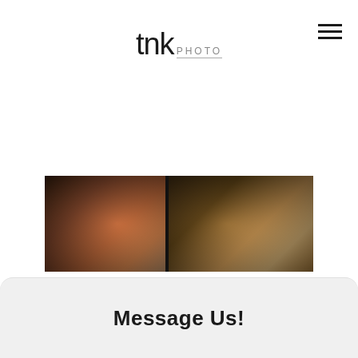tnk PHOTO
[Figure (photo): Photography studio website header with a split photo strip showing a woman in a black dress on the left and a dark studio interior on the right]
tnk photo watermark
Message Us!